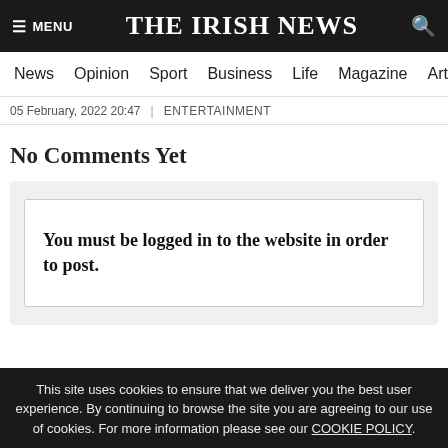≡ MENU  THE IRISH NEWS  🔍
News  Opinion  Sport  Business  Life  Magazine  Arts
05 February, 2022 20:47  |  ENTERTAINMENT
No Comments Yet
You must be logged in to the website in order to post.
This site uses cookies to ensure that we deliver you the best user experience. By continuing to browse the site you are agreeing to our use of cookies. For more information please see our COOKIE POLICY.